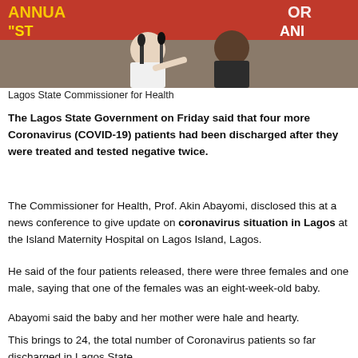[Figure (photo): Photo of Lagos State Commissioner for Health at a press conference with microphones in front, a banner visible in background with text including 'STR' and 'AND']
Lagos State Commissioner for Health
The Lagos State Government on Friday said that four more Coronavirus (COVID-19) patients had been discharged after they were treated and tested negative twice.
The Commissioner for Health, Prof. Akin Abayomi, disclosed this at a news conference to give update on coronavirus situation in Lagos at the Island Maternity Hospital on Lagos Island, Lagos.
He said of the four patients released, there were three females and one male, saying that one of the females was an eight-week-old baby.
Abayomi said the baby and her mother were hale and hearty.
This brings to 24, the total number of Coronavirus patients so far discharged in Lagos State.